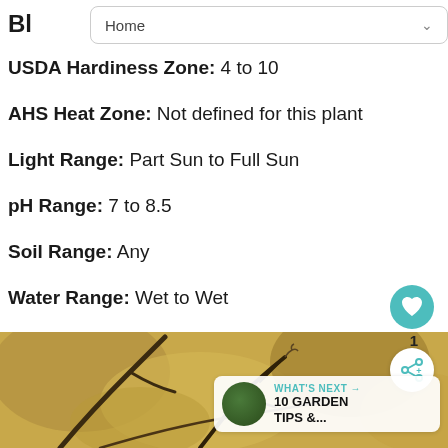Home
Bl... [partial title cut off by nav bar]
USDA Hardiness Zone: 4 to 10
AHS Heat Zone: Not defined for this plant
Light Range: Part Sun to Full Sun
pH Range: 7 to 8.5
Soil Range: Any
Water Range: Wet to Wet
[Figure (photo): Close-up photo of bare twigs/branches with blurred golden-brown bokeh background, suggesting a dormant shrub or tree in autumn/winter]